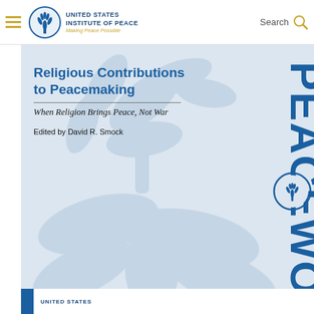United States Institute of Peace — Making Peace Possible — Search
[Figure (illustration): Book cover for 'Religious Contributions to Peacemaking: When Religion Brings Peace, Not War', edited by David R. Smock. Published by United States Institute of Peace. Cover shows a light blue background with decorative watermark of a tree and dove shapes, and the word PEACEWORK printed vertically in large blue letters on the right side with a circular USIP logo embedded in it.]
Religious Contributions to Peacemaking
When Religion Brings Peace, Not War
Edited by David R. Smock
UNITED STATES